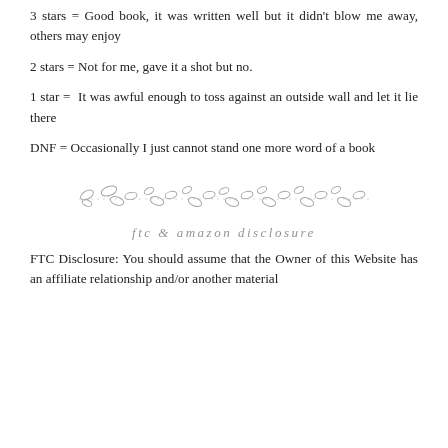3 stars = Good book, it was written well but it didn't blow me away, others may enjoy
2 stars = Not for me, gave it a shot but no.
1 star =  It was awful enough to toss against an outside wall and let it lie there
DNF = Occasionally I just cannot stand one more word of a book
[Figure (illustration): Decorative divider made of small oval leaf shapes connected by dotted lines]
ftc & amazon disclosure
FTC Disclosure: You should assume that the Owner of this Website has an affiliate relationship and/or another material connection to the providers of goods and services mentioned